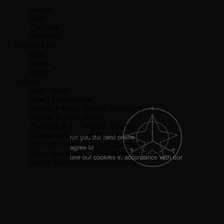Katana
Soul
The Dark
Hollow33
Custom Line
Halo
Saturn
Jupiter
Gallery
Soul 5 Boire
Halo 5 Liquidambar
Katana, 6-string Quilted Mahogany
Katana, 6-string, Boire
The Dark 001 – Wallnut, 5-string
Flamed walnut, 5-string
The Light Tony Grey Ash, 6-string
Halo Aquamarin Quilted Maple, 6-string
Jupiter Flamed Redwood, 5-string